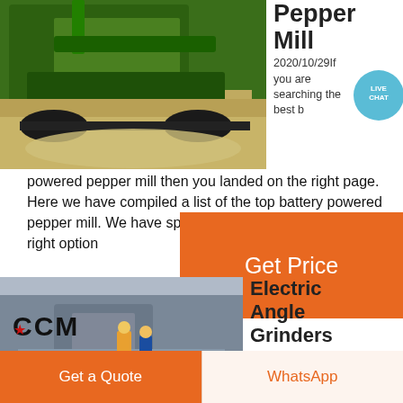[Figure (photo): Green heavy machinery/crusher on sandy terrain]
Pepper Mill
2020/10/29If you are searching the best battery powered pepper mill then you landed on the right page. Here we have compiled a list of the top battery powered pepper mill. We have spent around 40 hours to find the right option
[Figure (infographic): Live Chat bubble icon]
Get Price
[Figure (photo): CCM industrial equipment with workers on platform]
Electric Angle Grinders for Sale
Get a Quote
WhatsApp